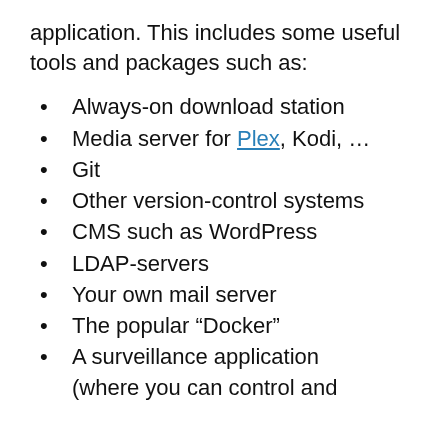application. This includes some useful tools and packages such as:
Always-on download station
Media server for Plex, Kodi, …
Git
Other version-control systems
CMS such as WordPress
LDAP-servers
Your own mail server
The popular “Docker”
A surveillance application (where you can control and manage IP cameras in your